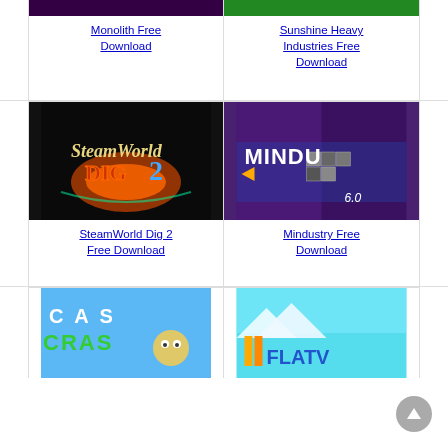[Figure (screenshot): Monolith game cover image (dark purple)]
Monolith Free Download
[Figure (screenshot): Sunshine Heavy Industries game cover image (green character)]
Sunshine Heavy Industries Free Download
[Figure (screenshot): SteamWorld Dig 2 game cover with fiery logo on dark background]
SteamWorld Dig 2 Free Download
[Figure (screenshot): Mindustry game cover with MINDU text and 6.0 overlay on purple/space background]
Mindustry Free Download
[Figure (screenshot): Crash game cover with colorful cartoon characters on blue background]
[Figure (screenshot): Flatout game cover with yellow/blue logo on aqua background]